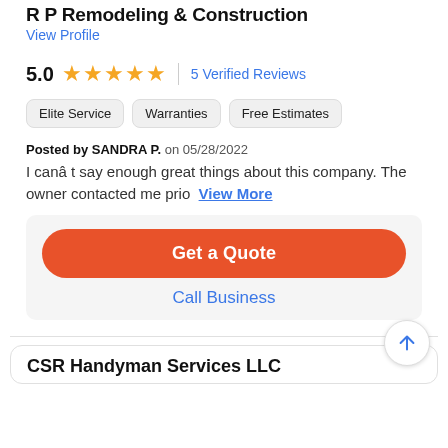R P Remodeling & Construction
View Profile
5.0  ★★★★★  |  5 Verified Reviews
Elite Service
Warranties
Free Estimates
Posted by SANDRA P. on 05/28/2022
I canâ t say enough great things about this company. The owner contacted me prio… View More
Get a Quote
Call Business
CSR Handyman Services LLC